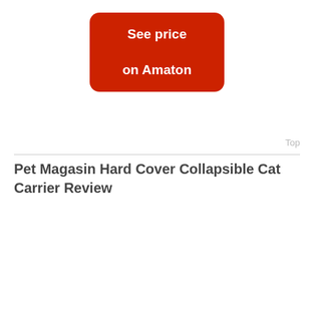[Figure (other): Red rounded rectangle button with white bold text reading 'See price on Amaton']
Top
Pet Magasin Hard Cover Collapsible Cat Carrier Review